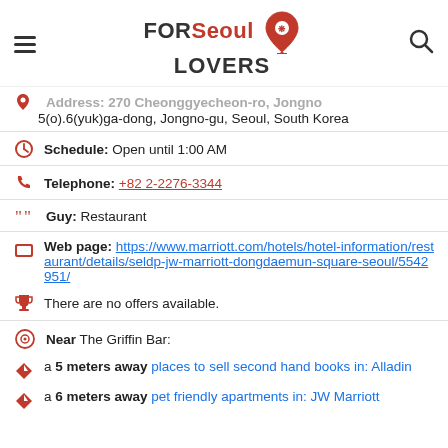[Figure (logo): FORSeoul LOVERS logo with map pin icon]
Address: 270 Cheonggyecheon-ro, Jongno 5(o).6(yuk)ga-dong, Jongno-gu, Seoul, South Korea
Schedule: Open until 1:00 AM
Telephone: +82 2-2276-3344
Guy: Restaurant
Web page: https://www.marriott.com/hotels/hotel-information/restaurant/details/seldp-jw-marriott-dongdaemun-square-seoul/5542951/
There are no offers available.
Near The Griffin Bar:
a 5 meters away places to sell second hand books in: Alladin
a 6 meters away pet friendly apartments in: JW Marriott